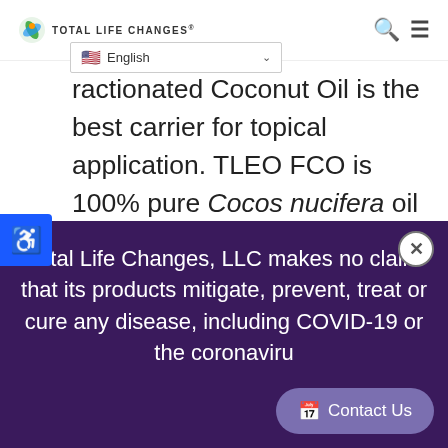TOTAL LIFE CHANGES
ractionated Coconut Oil is the best carrier for topical application. TLEO FCO is 100% pure Cocos nucifera oil from Southeast Asia. Through cold-press extraction, it comes from the fruit of the coconut, and our FCO's purity ensures it won't interfere with our pure essential oils'
Total Life Changes, LLC makes no claim that its products mitigate, prevent, treat or cure any disease, including COVID-19 or the coronaviru